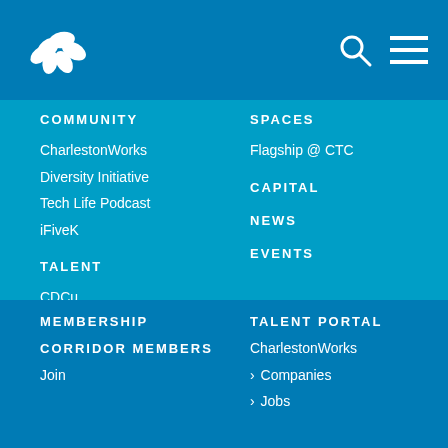[Figure (logo): White flower/leaf cluster logo icon]
[Figure (other): Search icon (magnifying glass) and hamburger menu icon]
COMMUNITY
CharlestonWorks
Diversity Initiative
Tech Life Podcast
iFiveK
TALENT
CDCu
CharlestonWorks
User Groups
SPACES
Flagship @ CTC
CAPITAL
NEWS
EVENTS
MEMBERSHIP
CORRIDOR MEMBERS
Join
TALENT PORTAL
CharlestonWorks
> Companies
> Jobs